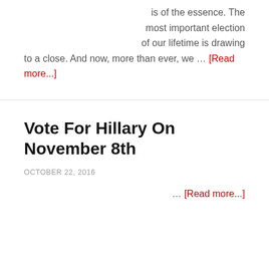is of the essence. The most important election of to a close. And now, more than ever, we … [Read more...]
Vote For Hillary On November 8th
OCTOBER 22, 2016
… [Read more...]